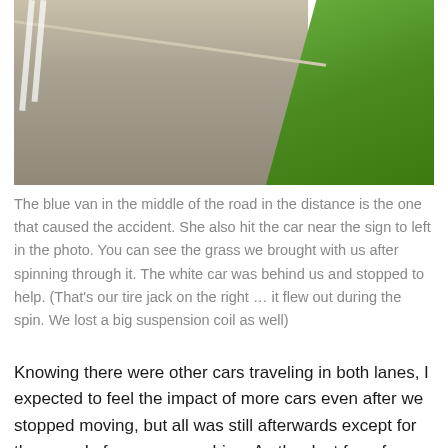[Figure (photo): Aerial or roadside view of a road with white lane markings on the left, a patch of disturbed gravel/dirt in the center, and green grass on the right side. Evidence of a car spinning through the grass median area.]
The blue van in the middle of the road in the distance is the one that caused the accident. She also hit the car near the sign to left in the photo. You can see the grass we brought with us after spinning through it. The white car was behind us and stopped to help. (That's our tire jack on the right … it flew out during the spin. We lost a big suspension coil as well)
Knowing there were other cars traveling in both lanes, I expected to feel the impact of more cars even after we stopped moving, but all was still afterwards except for the sound of my own coughing. As the dust from four airbags cleared, I knew I was unharmed, but I had to force myself